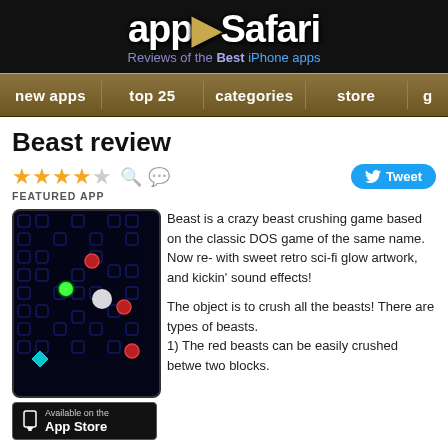appSafari - Reviews of the Best iPhone apps
new apps | top 25 | categories | store | g
Beast review
FEATURED APP
[Figure (screenshot): Beast app screenshot showing glowing game board with colored orbs on dark background, with Available on the App Store badge below]
Beast is a crazy beast crushing game based on the classic DOS game of the same name. Now re- with sweet retro sci-fi glow artwork, and kickin' sound effects!
The object is to crush all the beasts! There are types of beasts.
1) The red beasts can be easily crushed betwe two blocks.
2) The green super beasts must be surrounded so they can be crushed